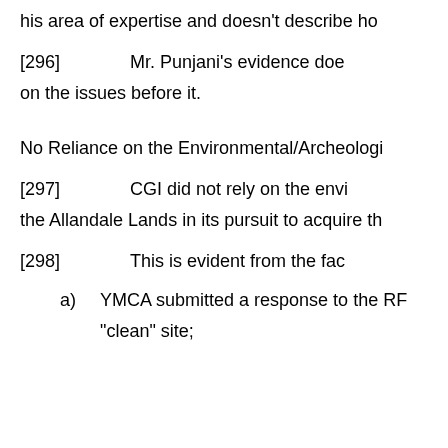his area of expertise and doesn't describe ho
[296]      Mr. Punjani's evidence doe
on the issues before it.
No Reliance on the Environmental/Archeologi
[297]      CGI did not rely on the envi
the Allandale Lands in its pursuit to acquire th
[298]      This is evident from the fac
a)  YMCA submitted a response to the RF
"clean" site;